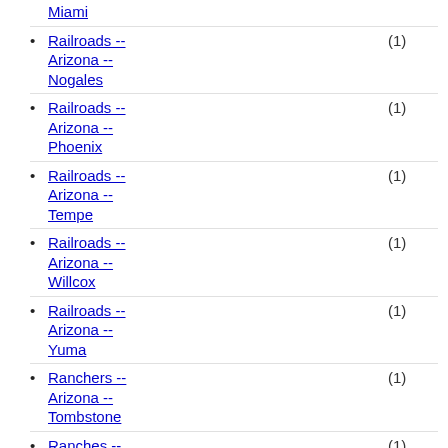Miami
Railroads -- Arizona -- Nogales (1)
Railroads -- Arizona -- Phoenix (1)
Railroads -- Arizona -- Tempe (1)
Railroads -- Arizona -- Willcox (1)
Railroads -- Arizona -- Yuma (1)
Ranchers -- Arizona -- Tombstone (1)
Ranches -- Arizona -- Dragoon (1)
Ranches -- Arizona -- Globe (1)
Ranches -- Arizona -- Scottsdale (1)
Ranches -- (1)